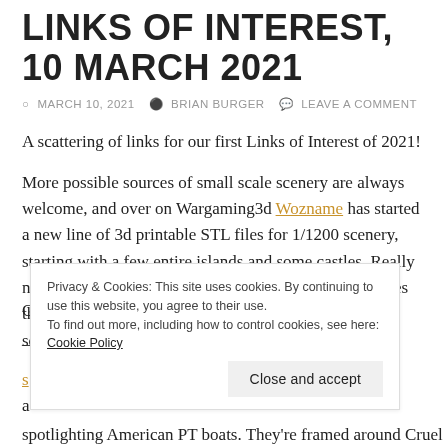LINKS OF INTEREST, 10 MARCH 2021
MARCH 10, 2021   BRIAN BURGER   LEAVE A COMMENT
A scattering of links for our first Links of Interest of 2021!
More possible sources of small scale scenery are always welcome, and over on Wargaming3d Wozname has started a new line of 3d printable STL files for 1/1200 scenery, starting with a few entire islands and some castles. Really neat to see people doing entire pieces in these tiny scales that would be basically impossible to do in any larger scale!
Privacy & Cookies: This site uses cookies. By continuing to use this website, you agree to their use. To find out more, including how to control cookies, see here: Cookie Policy
spotlighting American PT boats. They're framed around Cruel